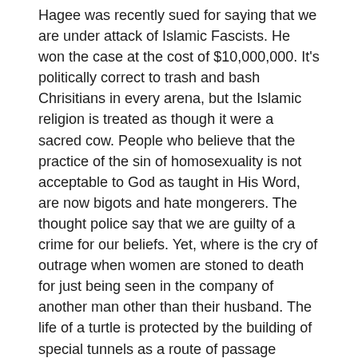Hagee was recently sued for saying that we are under attack of Islamic Fascists. He won the case at the cost of $10,000,000. It's politically correct to trash and bash Chrisitians in every arena, but the Islamic religion is treated as though it were a sacred cow. People who believe that the practice of the sin of homosexuality is not acceptable to God as taught in His Word, are now bigots and hate mongerers. The thought police say that we are guilty of a crime for our beliefs. Yet, where is the cry of outrage when women are stoned to death for just being seen in the company of another man other than their husband. The life of a turtle is protected by the building of special tunnels as a route of passage across roadways, but viable babies as late as nine months are aborted in the name of womens' Right to Choose.
This is accepted and condoned as right in the eyes of man. The hate crimes and thought police are only aimed against doing away with Chrisitan values.
I thought tolerance was suppose to be a two way street. I have family members that are practicing homosexuals. God loves them, even if they don't love or obey Him. Anyone who says that